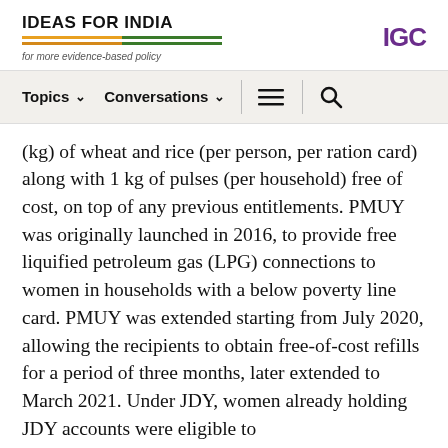IDEAS FOR INDIA — for more evidence-based policy | IGC
Topics  Conversations  [menu] [search]
(kg) of wheat and rice (per person, per ration card) along with 1 kg of pulses (per household) free of cost, on top of any previous entitlements. PMUY was originally launched in 2016, to provide free liquified petroleum gas (LPG) connections to women in households with a below poverty line card. PMUY was extended starting from July 2020, allowing the recipients to obtain free-of-cost refills for a period of three months, later extended to March 2021. Under JDY, women already holding JDY accounts were eligible to